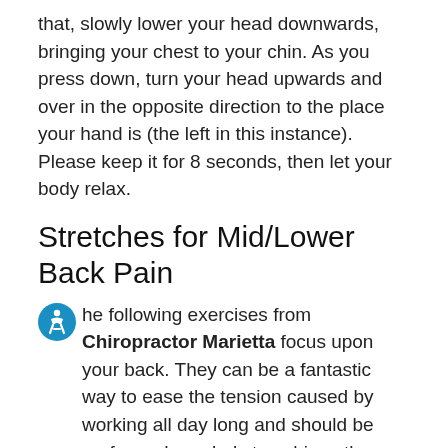that, slowly lower your head downwards, bringing your chest to your chin. As you press down, turn your head upwards and over in the opposite direction to the place your hand is (the left in this instance). Please keep it for 8 seconds, then let your body relax.
Stretches for Mid/Lower Back Pain
The following exercises from Chiropractor Marietta focus upon your back. They can be a fantastic way to ease the tension caused by working all day long and should be performed regularly to achieve the best outcomes.
The Cobra Stretch
Cobra stretching is among the most effective exercises that alleviate tension in the back's mid-back region. It is also possible to relate to each full...